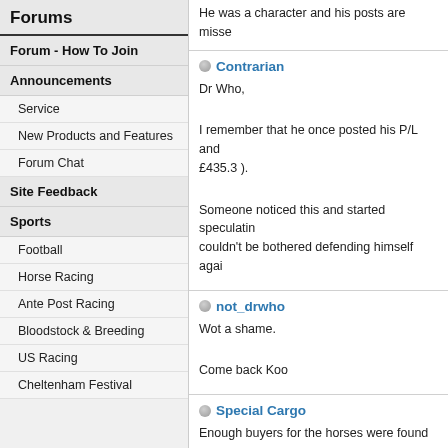Forums
Forum - How To Join
Announcements
Service
New Products and Features
Forum Chat
Site Feedback
Sports
Football
Horse Racing
Ante Post Racing
Bloodstock & Breeding
US Racing
Cheltenham Festival
He was a character and his posts are misse
Contrarian
Dr Who,

I remember that he once posted his P/L and £435.3 ).

Someone noticed this and started speculatin couldn't be bothered defending himself agai
not_drwho
Wot a shame.

Come back Koo
Special Cargo
Enough buyers for the horses were found so